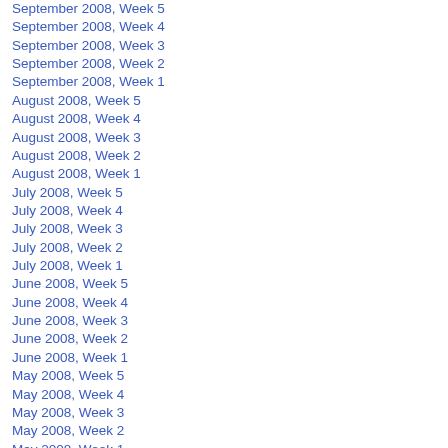September 2008, Week 5
September 2008, Week 4
September 2008, Week 3
September 2008, Week 2
September 2008, Week 1
August 2008, Week 5
August 2008, Week 4
August 2008, Week 3
August 2008, Week 2
August 2008, Week 1
July 2008, Week 5
July 2008, Week 4
July 2008, Week 3
July 2008, Week 2
July 2008, Week 1
June 2008, Week 5
June 2008, Week 4
June 2008, Week 3
June 2008, Week 2
June 2008, Week 1
May 2008, Week 5
May 2008, Week 4
May 2008, Week 3
May 2008, Week 2
May 2008, Week 1
April 2008, Week 5
April 2008, Week 4
April 2008, Week 3
April 2008, Week 2
April 2008, Week 1
March 2008, Week 5